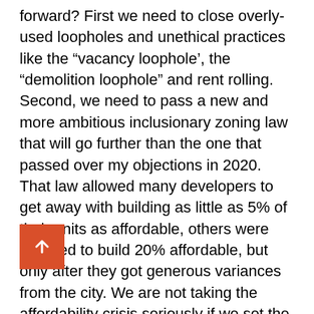forward? First we need to close overly-used loopholes and unethical practices like the “vacancy loophole’, the “demolition loophole” and rent rolling. Second, we need to pass a new and more ambitious inclusionary zoning law that will go further than the one that passed over my objections in 2020. That law allowed many developers to get away with building as little as 5% of their units as affordable, others were required to build 20% affordable, but only after they got generous variances from the city. We are not taking the affordability crisis seriously if we set the bar this low, and include generous loopholes. I am committed to fighting big developers and their allies, and [pushing] for a much higher “minimum affordability” requirement for all new developments.